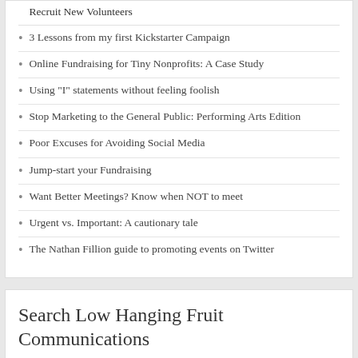Recruit New Volunteers
3 Lessons from my first Kickstarter Campaign
Online Fundraising for Tiny Nonprofits: A Case Study
Using "I" statements without feeling foolish
Stop Marketing to the General Public: Performing Arts Edition
Poor Excuses for Avoiding Social Media
Jump-start your Fundraising
Want Better Meetings? Know when NOT to meet
Urgent vs. Important: A cautionary tale
The Nathan Fillion guide to promoting events on Twitter
Search Low Hanging Fruit Communications
Search …